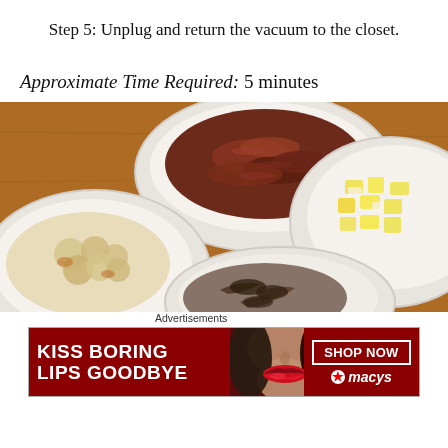Step 5: Unplug and return the vacuum to the closet.
Approximate Time Required: 5 minutes
[Figure (photo): Photo of four white bowls on a wooden surface, containing different food ingredients: crumbled bacon bits (top center), chopped hard-boiled eggs (right), cauliflower or cheese (bottom left), and sautéed mushrooms (bottom center).]
Advertisements
[Figure (other): Red advertisement banner for Macy's with text 'KISS BORING LIPS GOODBYE' on the left, a woman's face with red lips in the center, and 'SHOP NOW' button with Macy's star logo on the right.]